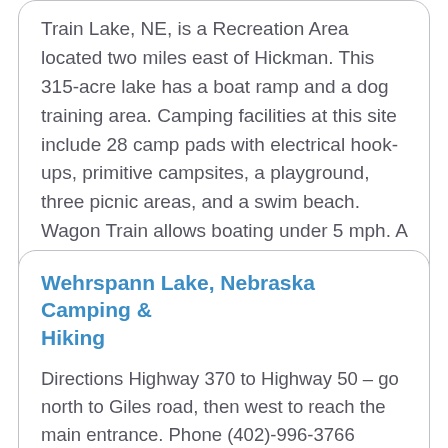Train Lake, NE, is a Recreation Area located two miles east of Hickman. This 315-acre lake has a boat ramp and a dog training area. Camping facilities at this site include 28 camp pads with electrical hook-ups, primitive campsites, a playground, three picnic areas, and a swim beach. Wagon Train allows boating under 5 mph. A State Park Permit is required for entry.
Wehrspann Lake, Nebraska Camping & Hiking
Directions Highway 370 to Highway 50 – go north to Giles road, then west to reach the main entrance. Phone (402)-996-3766 Activities WILDLIFE VIEWING, ENVIRONMENTAL EDUCATION Camping Reservations Reserve your campsite at these camping areas: Nebraska Campgrounds Hiking Trails Looking for nice hiking areas to take a hike?